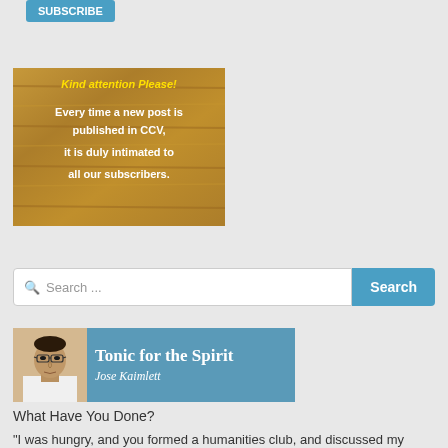[Figure (other): Blue Subscribe button at top left]
[Figure (infographic): Wooden background notice box with text: Kind attention Please! Every time a new post is published in CCV, it is duly intimated to all our subscribers.]
[Figure (screenshot): Search bar with Search button]
[Figure (infographic): Tonic for the Spirit banner with photo of Jose Kaimlett and blue background text area]
What Have You Done?
"I was hungry, and you formed a humanities club, and discussed my